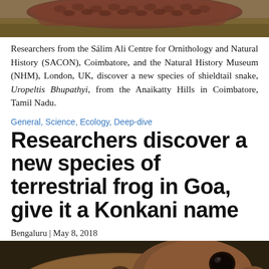[Figure (photo): Close-up photo of a snake (shieldtail snake) showing brown/reddish scaly skin on sandy/earthy background, partially cropped at top]
Researchers from the Sálim Ali Centre for Ornithology and Natural History (SACON), Coimbatore, and the Natural History Museum (NHM), London, UK, discover a new species of shieldtail snake, Uropeltis Bhupathyi, from the Anaikatty Hills in Coimbatore, Tamil Nadu.
General, Science, Ecology, Deep-dive
Researchers discover a new species of terrestrial frog in Goa, give it a Konkani name
Bengaluru | May 8, 2018
[Figure (photo): Close-up photo of a brown/mottled terrestrial frog (new species discovered in Goa) with dark spots and large eye, on a natural background]